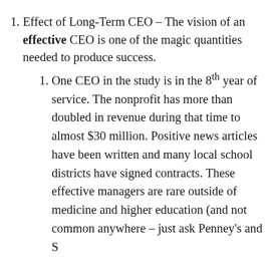Effect of Long-Term CEO – The vision of an effective CEO is one of the magic quantities needed to produce success.
One CEO in the study is in the 8th year of service. The nonprofit has more than doubled in revenue during that time to almost $30 million. Positive news articles have been written and many local school districts have signed contracts. These effective managers are rare outside of medicine and higher education (and not common anywhere – just ask Penney's and S